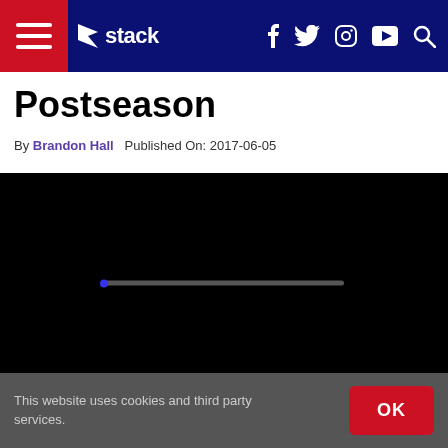Stack — navigation bar with hamburger menu, Stack logo, social icons (Facebook, Twitter, Instagram, YouTube), and search icon
Postseason
By Brandon Hall   Published On: 2017-06-05
[Figure (screenshot): Black video player area with a loading/progress bar in the center]
This website uses cookies and third party services.